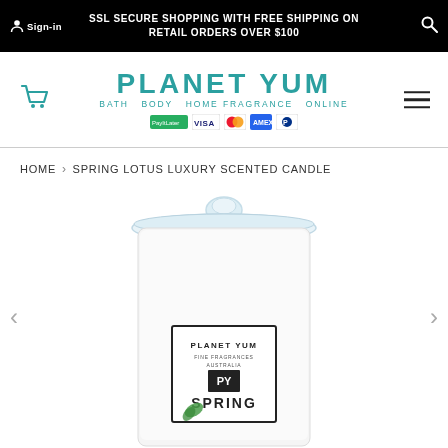Sign-in  SSL SECURE SHOPPING WITH FREE SHIPPING ON RETAIL ORDERS OVER $100
[Figure (logo): Planet Yum logo with teal text, subtitle BATH BODY HOME FRAGRANCE ONLINE, payment icons including PayItLater, VISA, Mastercard, Amex, and another card.]
HOME › SPRING LOTUS LUXURY SCENTED CANDLE
[Figure (photo): Planet Yum Spring Lotus Luxury Scented Candle in a large glass jar with a glass lid, white wax, label showing PLANET YUM FINE FRAGRANCES AUSTRALIA with PY logo and SPRING text with green leaf motif.]